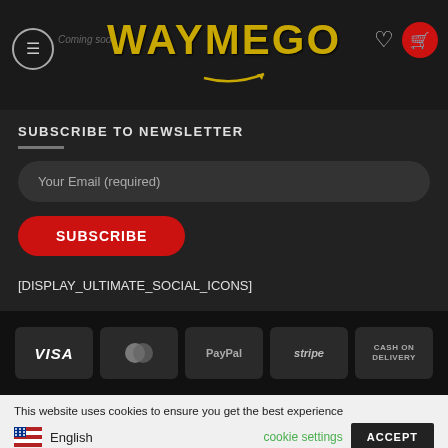[Figure (screenshot): Website header with WAYMEGO logo in gold, hamburger menu icon, heart icon, and red cart icon on dark background. 'Coming soon' text visible top left.]
SUBSCRIBE TO NEWSLETTER
Your Email (required)
SUBSCRIBE
[DISPLAY_ULTIMATE_SOCIAL_ICONS]
[Figure (other): Payment method badges: VISA, MasterCard, PayPal, stripe, CASH ON DELIVERY on dark background]
This website uses cookies to ensure you get the best experience
English
cookie settings
ACCEPT